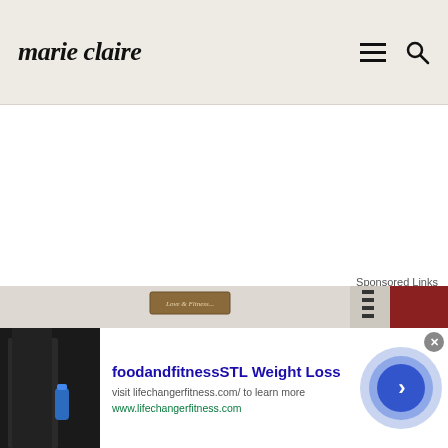marie claire
Sponsored Links
[Figure (photo): Interior room photo showing a sign on wall and red accent wall, used as background for sponsored content]
[Figure (photo): Advertisement photo showing a person in black holding a blue water bottle]
foodandfitnessSTL Weight Loss
visit lifechangerfitness.com/ to learn more
www.lifechangerfitness.com